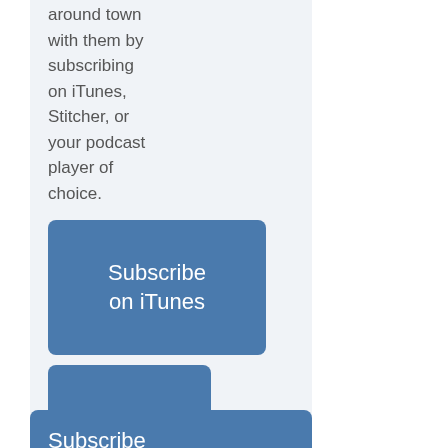around town with them by subscribing on iTunes, Stitcher, or your podcast player of choice.
Subscribe on iTunes
RSS Feed
View all episodes >
Subscribe